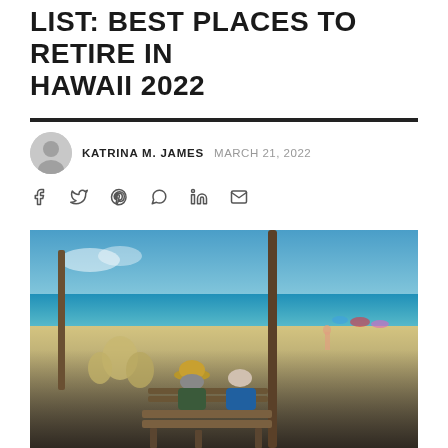LIST: BEST PLACES TO RETIRE IN HAWAII 2022
KATRINA M. JAMES   MARCH 21, 2022
[Figure (photo): An elderly couple sitting on a bench facing a Hawaiian beach with white sand, turquoise ocean, and blue sky. Other beachgoers visible in the background.]